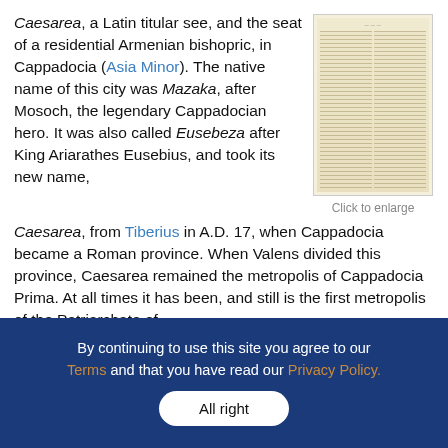Caesarea, a Latin titular see, and the seat of a residential Armenian bishopric, in Cappadocia (Asia Minor). The native name of this city was Mazaka, after Mosoch, the legendary Cappadocian hero. It was also called Eusebeza after King Ariarathes Eusebius, and took its new name, Caesarea, from Tiberius in A.D. 17, when Cappadocia became a Roman province. When Valens divided this province, Caesarea remained the metropolis of Cappadocia Prima. At all times it has been, and still is the first metropolis of the Patriarchate of
[Figure (photo): Thumbnail image of an encyclopedia or book page showing dense text in multiple columns, with a yellowed/aged appearance.]
Click to enlarge
By continuing to use this site you agree to our Terms and that you have read our Privacy Policy. All right